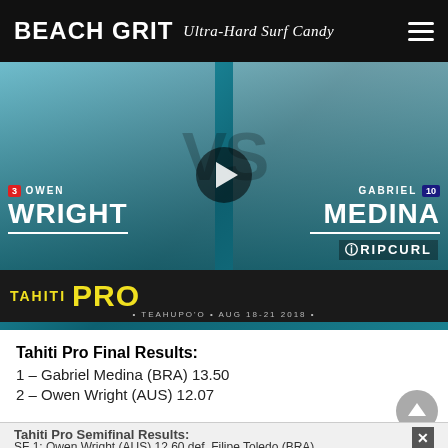BEACH GRIT Ultra-Hard Surf Candy
[Figure (photo): Video thumbnail showing Owen Wright (AUS, ranked 3) vs Gabriel Medina (BRA, ranked 10) at the Tahiti Pro, Teahupo'o, Aug 18-21 2018. Play button in center. Tahiti Pro banner at bottom.]
Tahiti Pro Final Results:
1 – Gabriel Medina (BRA) 13.50
2 – Owen Wright (AUS) 12.07
Tahiti Pro Semifinal Results:
SF 1: Owen Wright (AUS) 12.60 def. Filipe Toledo (BRA)